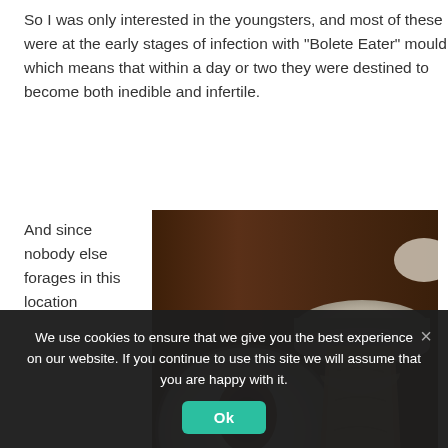So I was only interested in the youngsters, and most of these were at the early stages of infection with "Bolete Eater" mould, which means that within a day or two they were destined to become both inedible and infertile.
And since nobody else forages in this location
[Figure (photo): Two mushrooms laid on a wooden surface photographed from above. Left mushroom shows cross-section view with dark stem and white cap. Right mushroom shows the side view with brown stem and white/grey cap.]
We use cookies to ensure that we give you the best experience on our website. If you continue to use this site we will assume that you are happy with it.